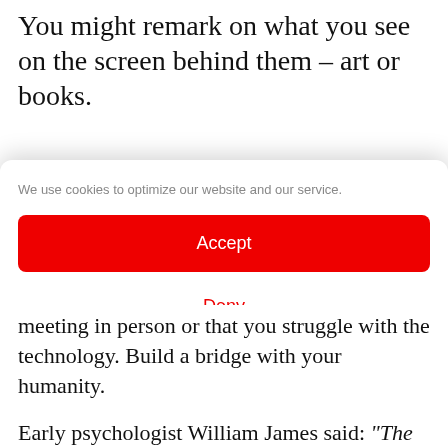You might remark on what you see on the screen behind them – art or books.
We use cookies to optimize our website and our service.
Accept
Deny
Preferences
Legal Information   Privacy Statement
meeting in person or that you struggle with the technology. Build a bridge with your humanity.
Early psychologist William James said: “The